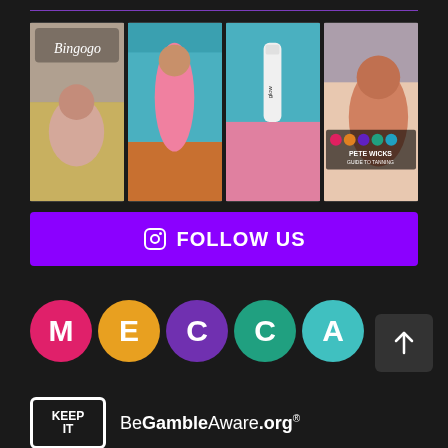[Figure (photo): Four Instagram photo thumbnails: 1) Man relaxing with 'Bingogo' neon sign, 2) Man in pink outfit in colorful room, 3) Beauty product (foam/lotion) in pink setting, 4) Pete Wicks Mecca tanning guide promotional image]
FOLLOW US
[Figure (logo): MECCA bingo logo - five colored circles each containing a letter: M (pink), E (yellow/orange), C (purple), C (teal/green), A (light blue)]
[Figure (logo): BeGambleAware.org logo with 'KEEP IT' box on left and BeGambleAware.org text on right]